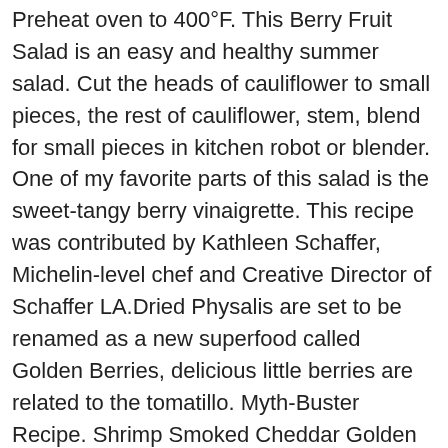Preheat oven to 400°F. This Berry Fruit Salad is an easy and healthy summer salad. Cut the heads of cauliflower to small pieces, the rest of cauliflower, stem, blend for small pieces in kitchen robot or blender. One of my favorite parts of this salad is the sweet-tangy berry vinaigrette. This recipe was contributed by Kathleen Schaffer, Michelin-level chef and Creative Director of Schaffer LA.Dried Physalis are set to be renamed as a new superfood called Golden Berries, delicious little berries are related to the tomatillo. Myth-Buster Recipe. Shrimp Smoked Cheddar Golden Berry Salad is a refreshing, bright, and elegant dish for a summer meal. Cal Giant's gorgeous non-GMO strawberries and blueberries are so especially sweet and juicy, I wanted to add their flavor to the salad in more than one way.. Plus, homemade berry vinaigrette is a great way to pack even more nutritional benefit into to this salad. I liked this salad, the dressing made it interesting. In a bowl, dissolve gelatin in boiling water. This Nuts About Berries Salad is colorful, flavorful, and refreshing in the spring and summer months when you can pick or purchase delicious,